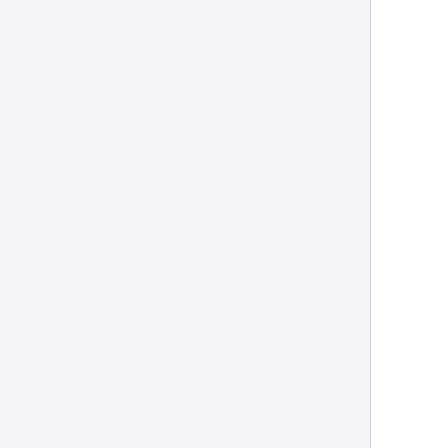i.e. we expect the following html content: <select> <option value='val1'> Value1 </option> <option value='val2'> Value2 </option> ... <option value='valN'> ValueN </option> </select> sopt: valid options that can be applied to the element, the same as